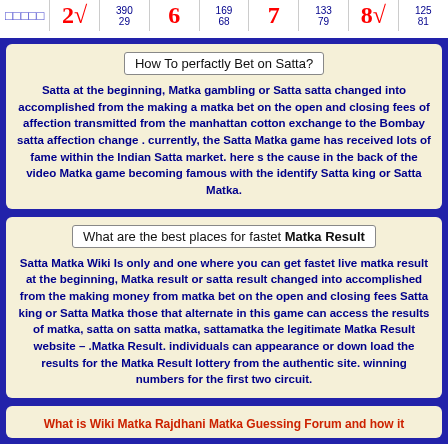|  |  | 390 | 6 | 169 | 7 | 133 | 8√ | 125 |
| --- | --- | --- | --- | --- | --- | --- | --- | --- |
| □□□□□ | 2√ | 390
29 | 6 | 169
68 | 7 | 133
79 | 8√ | 125
81 |
How To perfactly Bet on Satta?
Satta at the beginning, Matka gambling or Satta satta changed into accomplished from the making a matka bet on the open and closing fees of affection transmitted from the manhattan cotton exchange to the Bombay satta affection change . currently, the Satta Matka game has received lots of fame within the Indian Satta market. here s the cause in the back of the video Matka game becoming famous with the identify Satta king or Satta Matka.
What are the best places for fastet Matka Result
Satta Matka Wiki Is only and one where you can get fastet live matka result at the beginning, Matka result or satta result changed into accomplished from the making money from matka bet on the open and closing fees Satta king or Satta Matka those that alternate in this game can access the results of matka, satta on satta matka, sattamatka the legitimate Matka Result website – .Matka Result. individuals can appearance or down load the results for the Matka Result lottery from the authentic site. winning numbers for the first two circuit.
What is Wiki Matka Rajdhani Matka Guessing Forum and how it